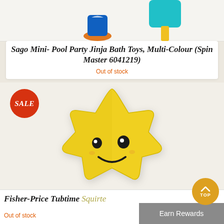[Figure (photo): Two bath toys partially visible at top: a blue and orange figurine (left) and an ice cream/popsicle toy (right)]
Sago Mini- Pool Party Jinja Bath Toys, Multi-Colour (Spin Master 6041219)
Out of stock
[Figure (photo): Yellow star-shaped bath toy with a smiley face (Fisher-Price Tubtime Squirter). A red circular SALE badge is visible on the left side.]
Fisher-Price Tubtime Squirte...
Out of stock